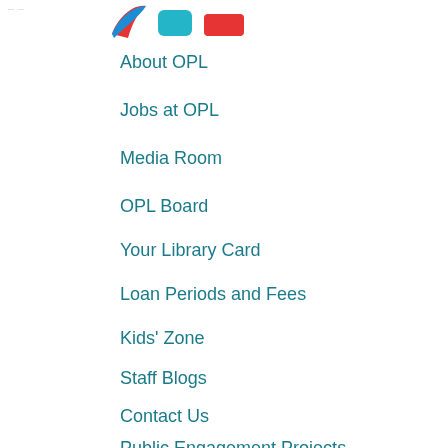[Figure (logo): Three colored logo icons (blue/red swoosh, teal square, red rectangle) representing OPL social media or app icons, partially visible at top]
About OPL
Jobs at OPL
Media Room
OPL Board
Your Library Card
Loan Periods and Fees
Kids' Zone
Staff Blogs
Contact Us
Public Engagement Projects